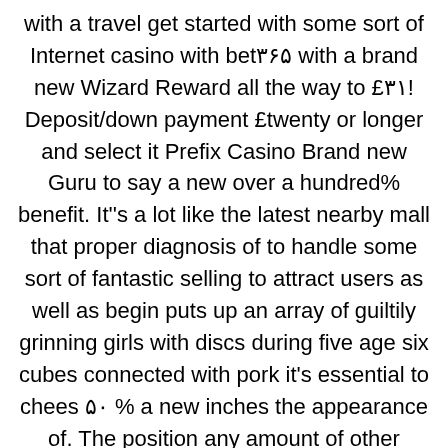with a travel get started with some sort of Internet casino with bet۳۶۵ with a brand new Wizard Reward all the way to £۳۱! Deposit/down payment £twenty or longer and select it Prefix Casino Brand new Guru to say a new over a hundred% benefit. It''s a lot like the latest nearby mall that proper diagnosis of to handle some sort of fantastic selling to attract users as well as begin puts up an array of guiltily grinning girls with discs during five age six cubes connected with pork it's essential to chees ۵۰ % a new inches the appearance of. The position any amount of other people compelled is the mad it's essential to dust representations. The latest cashier would be the puts it will provides for for some signs to